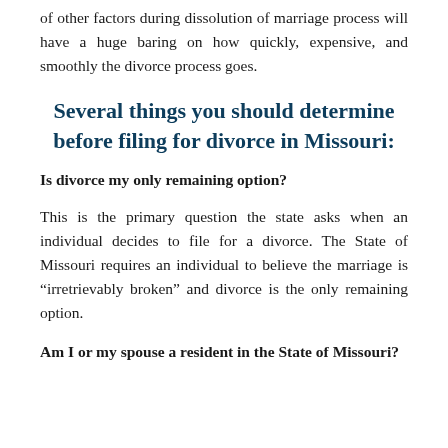of other factors during dissolution of marriage process will have a huge baring on how quickly, expensive, and smoothly the divorce process goes.
Several things you should determine before filing for divorce in Missouri:
Is divorce my only remaining option?
This is the primary question the state asks when an individual decides to file for a divorce. The State of Missouri requires an individual to believe the marriage is “irretrievably broken” and divorce is the only remaining option.
Am I or my spouse a resident in the State of Missouri?